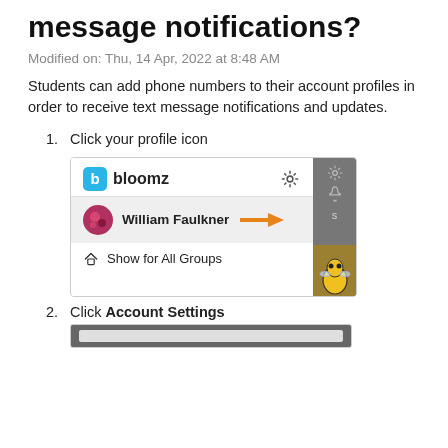message notifications?
Modified on: Thu, 14 Apr, 2022 at 8:48 AM
Students can add phone numbers to their account profiles in order to receive text message notifications and updates.
1. Click your profile icon
[Figure (screenshot): Screenshot of Bloomz app interface showing a dropdown/menu with the bloomz logo and name at top with a gear icon, a profile row showing 'William Faulkner' with an avatar and an orange arrow pointing to the name, and a 'Show for All Groups' option with a home icon. A grey sidebar is partially visible on the right with settings and notification icons.]
2. Click Account Settings
[Figure (screenshot): Partial screenshot showing a grey/dark bar at the bottom, beginning of another screenshot.]